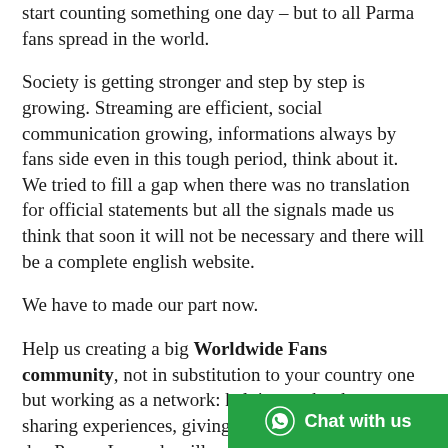start counting something one day – but to all Parma fans spread in the world.
Society is getting stronger and step by step is growing. Streaming are efficient, social communication growing, informations always by fans side even in this tough period, think about it. We tried to fill a gap when there was no translation for official statements but all the signals made us think that soon it will not be necessary and there will be a complete english website.
We have to made our part now.
Help us creating a big Worldwide Fans community, not in substitution to your country one but working as a network: helping each other, sharing experiences, giving new ideas... Maybe one day Parma Legends will organize a match in town, Tardini will be open 7/7 even in summer, the friendly will be not just with Foggia or Sassuolo but with
[Figure (other): Green WhatsApp chat button with icon and text 'Chat with us']